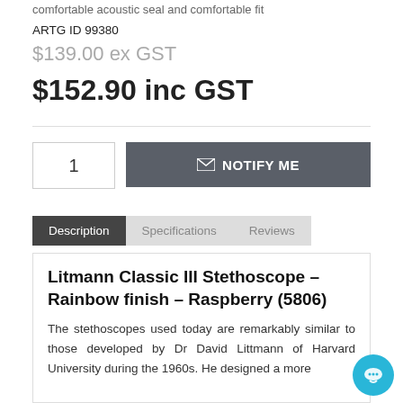comfortable acoustic seal and comfortable fit
ARTG ID 99380
$139.00 ex GST
$152.90 inc GST
1
NOTIFY ME
Description
Specifications
Reviews
Litmann Classic III Stethoscope – Rainbow finish – Raspberry (5806)
The stethoscopes used today are remarkably similar to those developed by Dr David Littmann of Harvard University during the 1960s. He designed a more